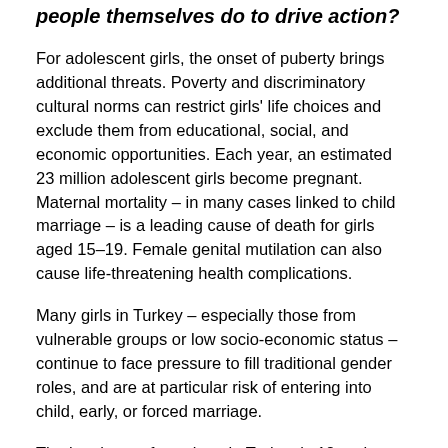people themselves do to drive action?
For adolescent girls, the onset of puberty brings additional threats. Poverty and discriminatory cultural norms can restrict girls' life choices and exclude them from educational, social, and economic opportunities. Each year, an estimated 23 million adolescent girls become pregnant. Maternal mortality – in many cases linked to child marriage – is a leading cause of death for girls aged 15–19. Female genital mutilation can also cause life-threatening health complications.
Many girls in Turkey – especially those from vulnerable groups or low socio-economic status – continue to face pressure to fill traditional gender roles, and are at particular risk of entering into child, early, or forced marriage.
The legal age of marriage in Turkey is 18 and